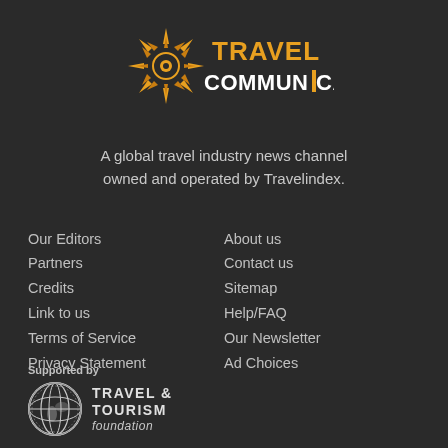[Figure (logo): Travel Communication logo with sunburst/compass icon in gold and text TRAVEL COMMUNICATION in white and orange]
A global travel industry news channel owned and operated by Travelindex.
Our Editors
Partners
Credits
Link to us
Terms of Service
Privacy Statement
About us
Contact us
Sitemap
Help/FAQ
Our Newsletter
Ad Choices
Supported by
[Figure (logo): Travel & Tourism Foundation logo with globe icon and text TRAVEL & TOURISM foundation]